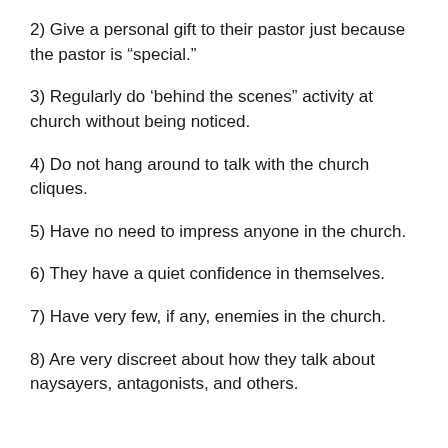2) Give a personal gift to their pastor just because the pastor is “special.”
3) Regularly do ‘behind the scenes” activity at church without being noticed.
4) Do not hang around to talk with the church cliques.
5) Have no need to impress anyone in the church.
6) They have a quiet confidence in themselves.
7) Have very few, if any, enemies in the church.
8) Are very discreet about how they talk about naysayers, antagonists, and others.